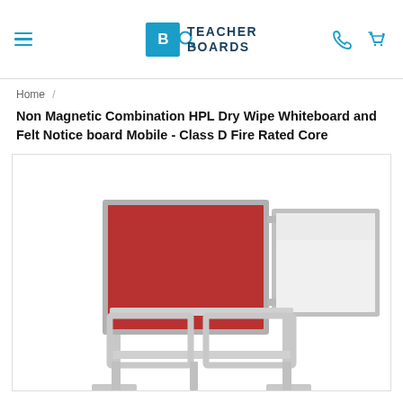TEACHER BOARDS
Home /
Non Magnetic Combination HPL Dry Wipe Whiteboard and Felt Notice board Mobile - Class D Fire Rated Core
[Figure (photo): Product photo of a mobile combination board with a red felt noticeboard panel on the left and a white HPL dry-wipe whiteboard panel on the right, mounted on a silver aluminium stand with a lower shelf/frame structure.]